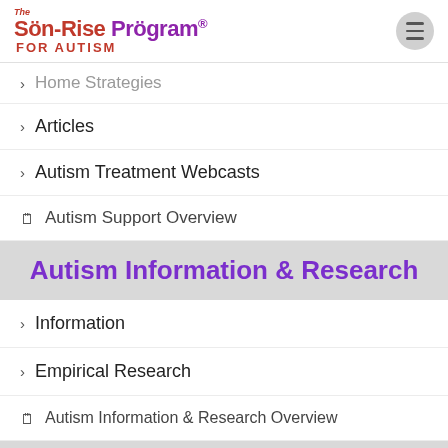Son-Rise Program for Autism
Home Strategies
Articles
Autism Treatment Webcasts
Autism Support Overview
Autism Information & Research
Information
Empirical Research
Autism Information & Research Overview
FAQ's
Frequently Asked Questions